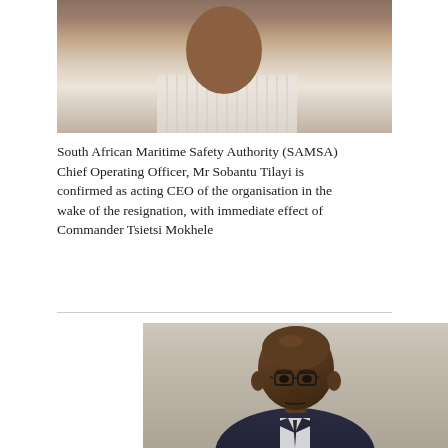[Figure (photo): Close-up photo of a person wearing a striped shirt, upper body visible, cropped at top]
South African Maritime Safety Authority (SAMSA) Chief Operating Officer, Mr Sobantu Tilayi is confirmed as acting CEO of the organisation in the wake of the resignation, with immediate effect of Commander Tsietsi Mokhele
[Figure (photo): Portrait photo of a bald man wearing glasses and a dark suit with a tie, looking serious]